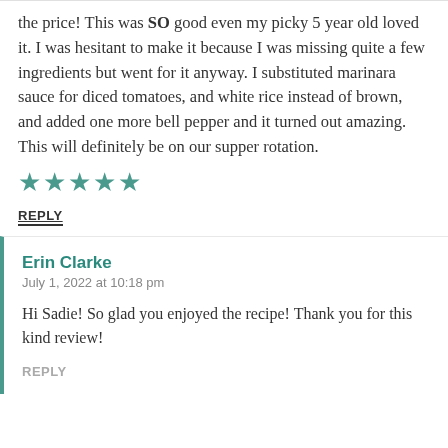the price! This was SO good even my picky 5 year old loved it. I was hesitant to make it because I was missing quite a few ingredients but went for it anyway. I substituted marinara sauce for diced tomatoes, and white rice instead of brown, and added one more bell pepper and it turned out amazing. This will definitely be on our supper rotation.
[Figure (other): Five teal/green star rating icons]
REPLY
Erin Clarke
July 1, 2022 at 10:18 pm
Hi Sadie! So glad you enjoyed the recipe! Thank you for this kind review!
REPLY